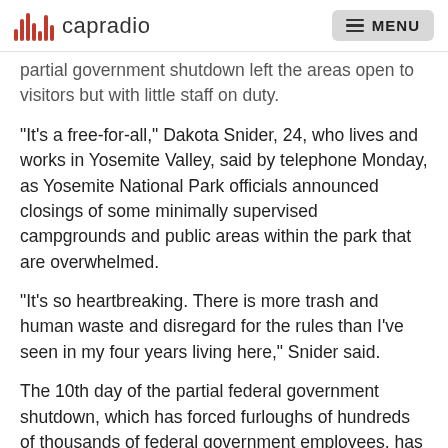capradio  MENU
partial government shutdown left the areas open to visitors but with little staff on duty.
"It's a free-for-all," Dakota Snider, 24, who lives and works in Yosemite Valley, said by telephone Monday, as Yosemite National Park officials announced closings of some minimally supervised campgrounds and public areas within the park that are overwhelmed.
"It's so heartbreaking. There is more trash and human waste and disregard for the rules than I've seen in my four years living here," Snider said.
The 10th day of the partial federal government shutdown, which has forced furloughs of hundreds of thousands of federal government employees, has left many parks without most of the rangers